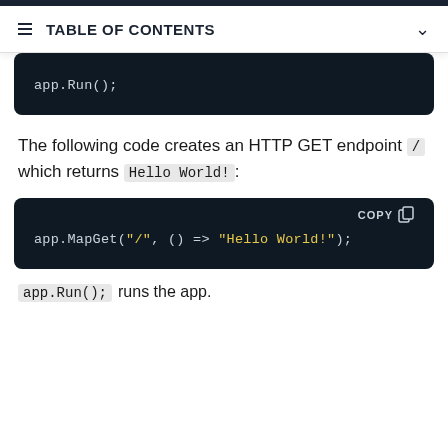TABLE OF CONTENTS
The following code creates an HTTP GET endpoint / which returns Hello World!:
app.Run(); runs the app.